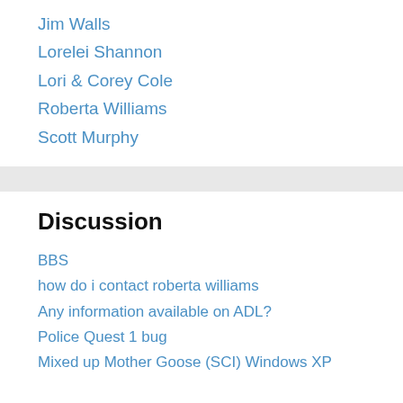Jim Walls
Lorelei Shannon
Lori & Corey Cole
Roberta Williams
Scott Murphy
Discussion
BBS
how do i contact roberta williams
Any information available on ADL?
Police Quest 1 bug
Mixed up Mother Goose (SCI) Windows XP